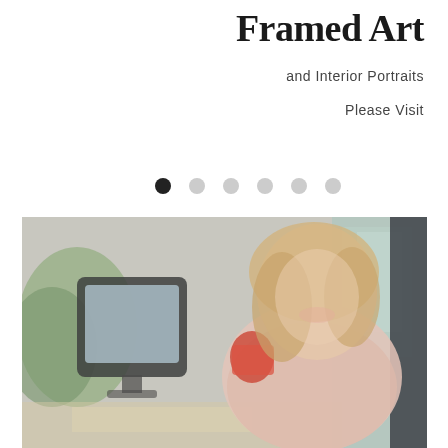Framed Art
and Interior Portraits
Please Visit
[Figure (other): Navigation dots: one filled dark circle followed by five lighter grey circles, indicating a carousel/slideshow position indicator]
[Figure (photo): A blurred photograph of a smiling woman with blonde hair wearing a pink top, holding a red cup, standing near a computer monitor in what appears to be an art framing shop interior]